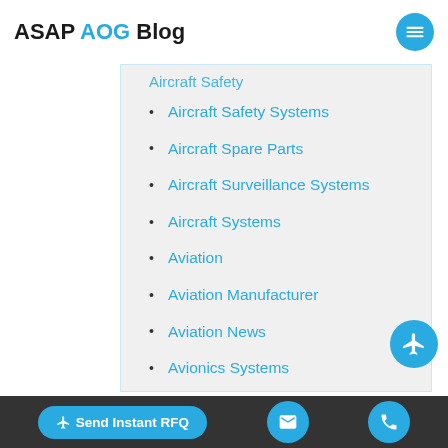ASAP AOG Blog
Aircraft Safety
Aircraft Safety Systems
Aircraft Spare Parts
Aircraft Surveillance Systems
Aircraft Systems
Aviation
Aviation Manufacturer
Aviation News
Avionics Systems
Bearings
Boeing Aircraft
Bombardier Aerospace
Send Instant RFQ